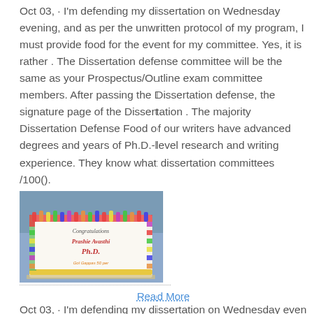Oct 03,  · I'm defending my dissertation on Wednesday evening, and as per the unwritten protocol of my program, I must provide food for the event for my committee. Yes, it is rather . The Dissertation defense committee will be the same as your Prospectus/Outline exam committee members. After passing the Dissertation defense, the signature page of the Dissertation . The majority Dissertation Defense Food of our writers have advanced degrees and years of Ph.D.-level research and writing experience. They know what dissertation committees /100.
[Figure (photo): A decorated celebration cake with colorful frosting borders and text reading 'Congratulations Prashie Avasthi Ph.D.' on a white cake.]
Read More
Oct 03,  · I'm defending my dissertation on Wednesday evening,